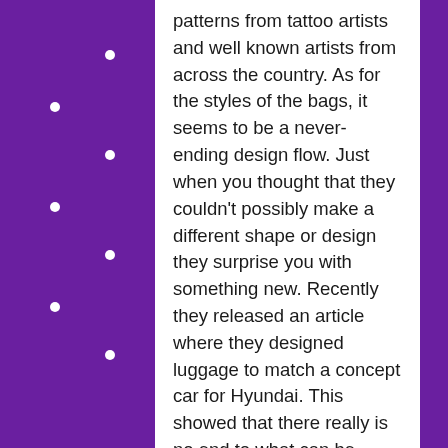[Figure (illustration): Purple fleur-de-lis decorative pattern on left and right borders of the page, white fleur-de-lis symbols on dark purple background]
patterns from tattoo artists and well known artists from across the country. As for the styles of the bags, it seems to be a never-ending design flow. Just when you thought that they couldn't possibly make a different shape or design they surprise you with something new. Recently they released an article where they designed luggage to match a concept car for Hyundai. This showed that there really is no end to what can be made out of seatbelts, or the creativity of the people working there.